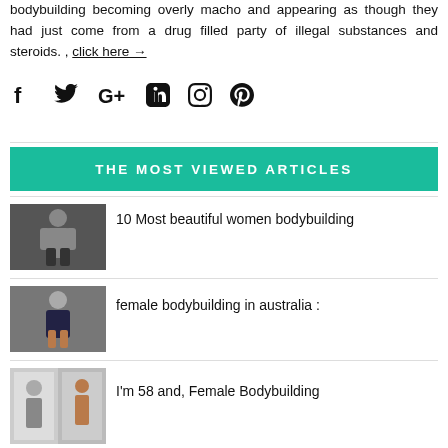bodybuilding becoming overly macho and appearing as though they had just come from a drug filled party of illegal substances and steroids. , click here →
[Figure (infographic): Social media share icons: Facebook (f), Twitter (bird), Google+ (G+), LinkedIn (in), Instagram (camera), Pinterest (P)]
THE MOST VIEWED ARTICLES
[Figure (photo): Photo of a fit woman in black outfit posing]
10 Most beautiful women bodybuilding
[Figure (photo): Photo of a fit woman in blue tank top and shorts in gym]
female bodybuilding in australia :
[Figure (photo): Collage of before/after photos of an older woman bodybuilder]
I'm 58 and, Female Bodybuilding